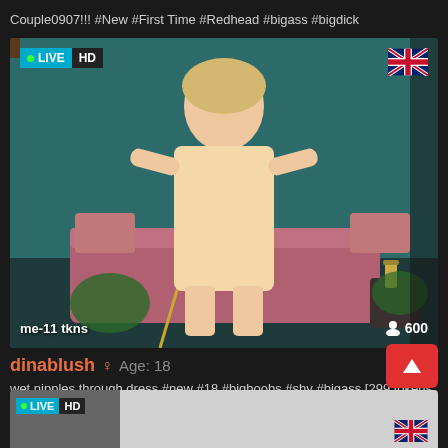Couple0907!!! #New #First Time #Redhead #bigass #bigdick
[Figure (screenshot): Live webcam stream showing a young woman in a beige/cream dress standing in a room with a teal/green wall, pink sofa, and plants. LIVE HD badge top left, UK flag top right, viewer count 600 bottom right, 'me-11 tkns' text bottom left.]
dinablush ♀ Age: 18
wet nipples through dress #new #18 #bigboobs #shy #bigass [299 tokens remaining]
[Figure (screenshot): Bottom strip of another live stream card with LIVE HD badge and UK flag visible, showing a white/grey room background.]